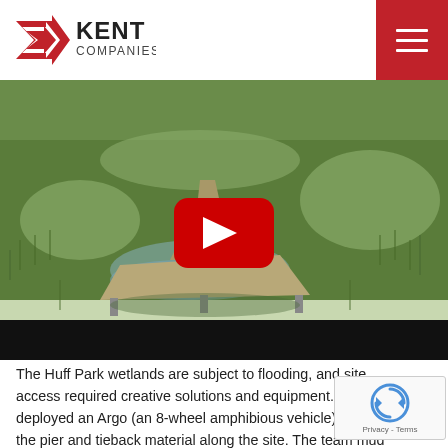Kent Companies
[Figure (screenshot): Video thumbnail showing a wetland/marsh scene with a wooden pier or mat platform structure visible in the center, surrounded by green grass. A red YouTube-style play button is overlaid in the center. A black bar appears at the bottom of the video player.]
The Huff Park wetlands are subject to flooding, and site access required creative solutions and equipment. We deployed an Argo (an 8-wheel amphibious vehicle) to stage the pier and tieback material along the site. The team mud mats to move a mini-excavator over areas with water. While it was necessary to cut some small tree allow enough access for installation, we left minimal impact